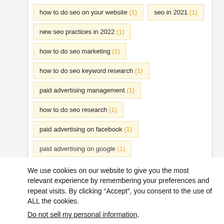how to do seo on your website (1)
seo in 2021 (1)
new seo practices in 2022 (1)
how to do seo marketing (1)
how to do seo keyword research (1)
paid advertising management (1)
how to do seo research (1)
paid advertising on facebook (1)
paid advertising on google (1)
We use cookies on our website to give you the most relevant experience by remembering your preferences and repeat visits. By clicking “Accept”, you consent to the use of ALL the cookies.
Do not sell my personal information.
Cookie Settings
Accept